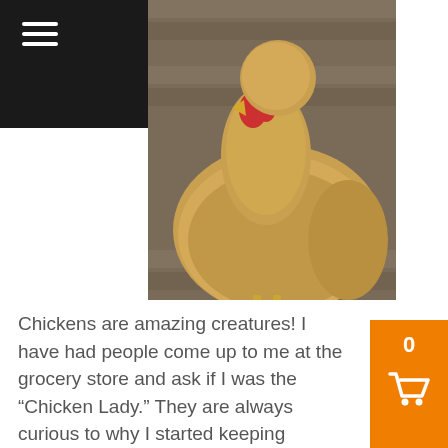[Figure (photo): Close-up photograph of a buff/golden-colored chicken looking at the camera, on a wooden deck background]
Chickens are amazing creatures! I have had people come up to me at the grocery store and ask if I was the “Chicken Lady.” They are always curious to why I started keeping chickens in the suburbs of Kansas City. Since it’s one of my favorite subjects, I have no problem sharing. Below are seven facts I have learned about chickens.
1. You can research, read, and educate yourself as much as possible. I